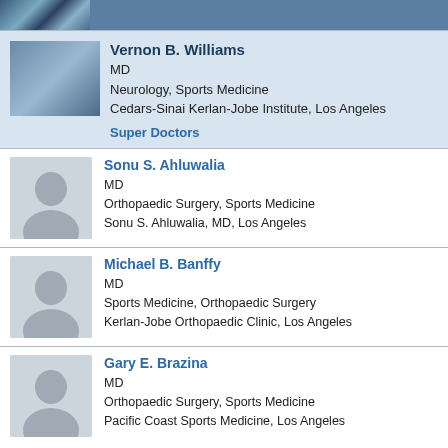[Figure (photo): Top navigation bar with logo/banner graphic]
Vernon B. Williams
MD
Neurology, Sports Medicine
Cedars-Sinai Kerlan-Jobe Institute, Los Angeles
Super Doctors
Sonu S. Ahluwalia
MD
Orthopaedic Surgery, Sports Medicine
Sonu S. Ahluwalia, MD, Los Angeles
Michael B. Banffy
MD
Sports Medicine, Orthopaedic Surgery
Kerlan-Jobe Orthopaedic Clinic, Los Angeles
Gary E. Brazina
MD
Orthopaedic Surgery, Sports Medicine
Pacific Coast Sports Medicine, Los Angeles